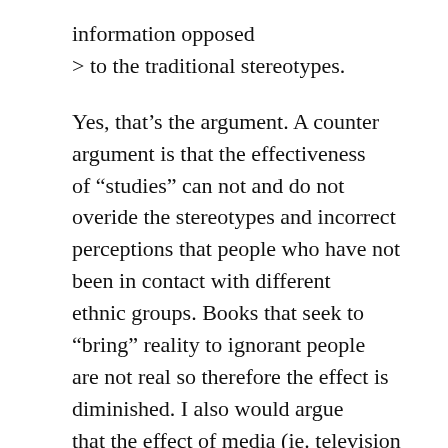information opposed
> to the traditional stereotypes.
Yes, that’s the argument. A counter argument is that the effectiveness of “studies” can not and do not overide the stereotypes and incorrect perceptions that people who have not been in contact with different ethnic groups. Books that seek to “bring” reality to ignorant people are not real so therefore the effect is diminished. I also would argue that the effect of media (ie. television and pictures) are more powerful that than words in shaping the ideas of people.